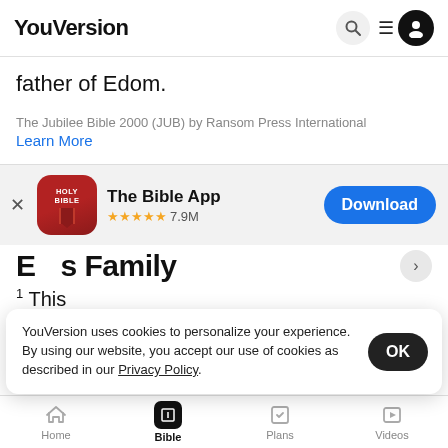YouVersion
father of Edom.
The Jubilee Bible 2000 (JUB) by Ransom Press International
Learn More
[Figure (screenshot): App store banner for The Bible App with Holy Bible icon, 4.5 star rating 7.9M reviews, and Download button]
Es Family
1 This ... Edom).
YouVersion uses cookies to personalize your experience. By using our website, you accept our use of cookies as described in our Privacy Policy.
Home  Bible  Plans  Videos